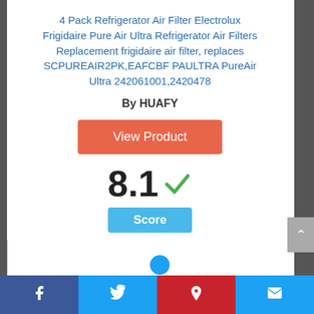4 Pack Refrigerator Air Filter Electrolux Frigidaire Pure Air Ultra Refrigerator Air Filters Replacement frigidaire air filter, replaces SCPUREAIR2PK,EAFCBF PAULTRA PureAir Ultra 242061001,2420478
By HUAFY
[Figure (other): Orange 'View Product' button]
8.1 ✓
Score
Facebook | Twitter | Pinterest | Mail